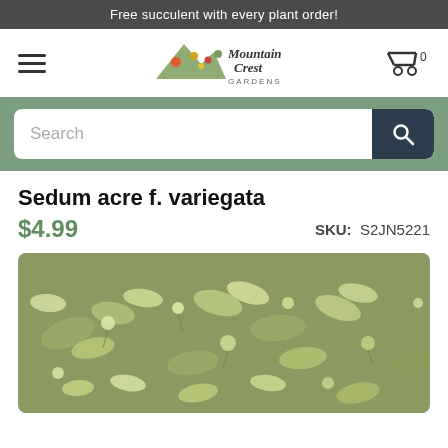Free succulent with every plant order!
[Figure (logo): Mountain Crest Gardens logo with colorful succulent illustration and script/serif text]
[Figure (screenshot): Search bar input field with magnifying glass button on green background]
Sedum acre f. variegata
$4.99   SKU: S2JN5221
[Figure (photo): Close-up photograph of Sedum acre f. variegata plant showing small pale green succulent leaves clustered densely]